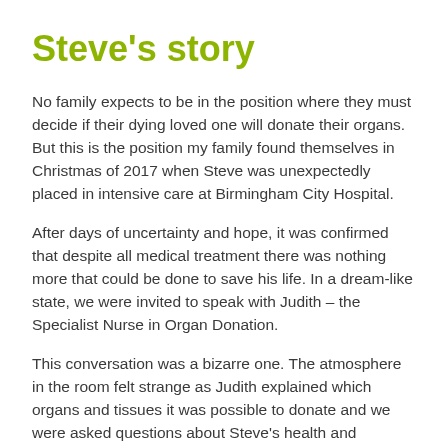Steve's story
No family expects to be in the position where they must decide if their dying loved one will donate their organs. But this is the position my family found themselves in Christmas of 2017 when Steve was unexpectedly placed in intensive care at Birmingham City Hospital.
After days of uncertainty and hope, it was confirmed that despite all medical treatment there was nothing more that could be done to save his life. In a dream-like state, we were invited to speak with Judith – the Specialist Nurse in Organ Donation.
This conversation was a bizarre one. The atmosphere in the room felt strange as Judith explained which organs and tissues it was possible to donate and we were asked questions about Steve's health and lifestyle.
Although Steve was not on the donor register, he had mentioned in passing he would like to donate his organs.